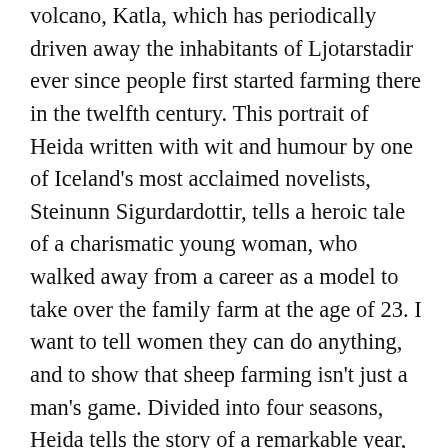volcano, Katla, which has periodically driven away the inhabitants of Ljotarstadir ever since people first started farming there in the twelfth century. This portrait of Heida written with wit and humour by one of Iceland's most acclaimed novelists, Steinunn Sigurdardottir, tells a heroic tale of a charismatic young woman, who walked away from a career as a model to take over the family farm at the age of 23. I want to tell women they can do anything, and to show that sheep farming isn't just a man's game. Divided into four seasons, Heida tells the story of a remarkable year, when Heida reluctantly went into politics to fight plans to raise a hydro-electric power station on her land. This book paints a unforgettable portrait of a remote life close to nature. Translated into six languages, Heida has won two non-fiction prizes and